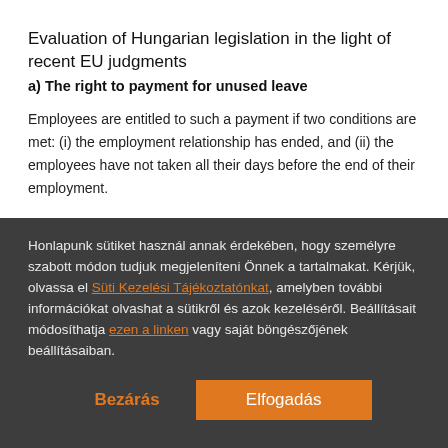Evaluation of Hungarian legislation in the light of recent EU judgments
a) The right to payment for unused leave
Employees are entitled to such a payment if two conditions are met: (i) the employment relationship has ended, and (ii) the employees have not taken all their days before the end of their employment.
Honlapunk sütiket használ annak érdekében, hogy személyre szabott módon tudjuk megjeleníteni Önnek a tartalmakat. Kérjük, olvassa el Süti Kezelési Tájékoztatónkat, amelyben további információkat olvashat a sütikről és azok kezeléséről. Beállításait módosíthatja ezen a linken vagy saját böngészőjének beállításaiban.
Bezárás
Elfogadás